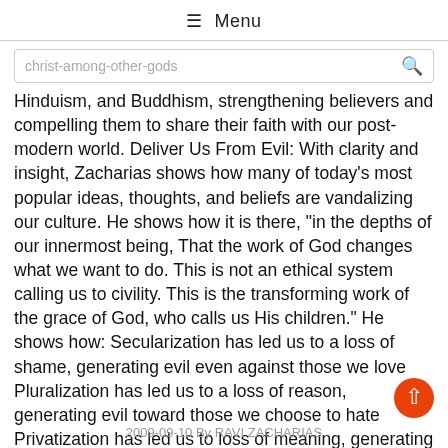☰ Menu
christ-among-other-gods
Hinduism, and Buddhism, strengthening believers and compelling them to share their faith with our post-modern world. Deliver Us From Evil: With clarity and insight, Zacharias shows how many of today's most popular ideas, thoughts, and beliefs are vandalizing our culture. He shows how it is there, "in the depths of our innermost being, That the work of God changes what we want to do. This is not an ethical system calling us to civility. This is the transforming work of the grace of God, who calls us His children." He shows how: Secularization has led us to a loss of shame, generating evil even against those we love Pluralization has led us to a loss of reason, generating evil toward those we choose to hate Privatization has led us to loss of meaning, generating evil against ourselves
2009-09-10 By RAVI ZACHARIAS